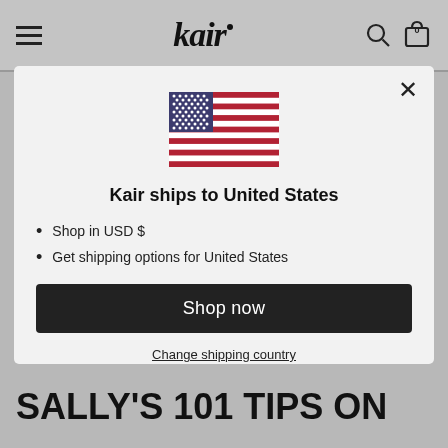kair
[Figure (illustration): US flag icon centered in modal]
Kair ships to United States
Shop in USD $
Get shipping options for United States
Shop now
Change shipping country
SALLY'S 101 TIPS ON